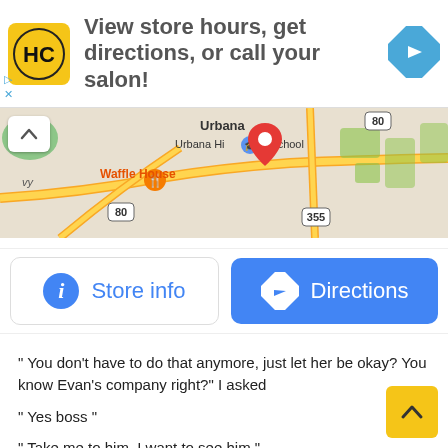[Figure (screenshot): Advertisement banner for a hair salon chain (HC logo) with text 'View store hours, get directions, or call your salon!' and a blue navigation arrow icon on the right. Small blue arrow and X controls at left.]
[Figure (map): Google Maps screenshot showing Urbana area with Urbana High School, Waffle House marker, route 80, route 355, and a red location pin.]
[Figure (screenshot): Two buttons: 'Store info' (white background, blue info icon and blue text) and 'Directions' (blue background, white navigation icon and white text).]
" You don't have to do that anymore, just let her be okay? You know Evan's company right?" I asked
" Yes boss "
" Take me to him, I want to see him "
.